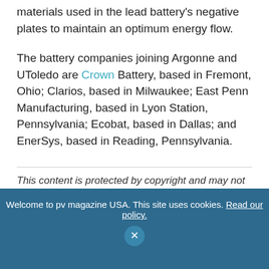materials used in the lead battery's negative plates to maintain an optimum energy flow.
The battery companies joining Argonne and UToledo are Crown Battery, based in Fremont, Ohio; Clarios, based in Milwaukee; East Penn Manufacturing, based in Lyon Station, Pennsylvania; Ecobat, based in Dallas; and EnerSys, based in Reading, Pennsylvania.
This content is protected by copyright and may not be reused. If you want to cooperate with us and would like to reuse some of our content, please contact: editors@pv-magazine.com.
Welcome to pv magazine USA. This site uses cookies. Read our policy.